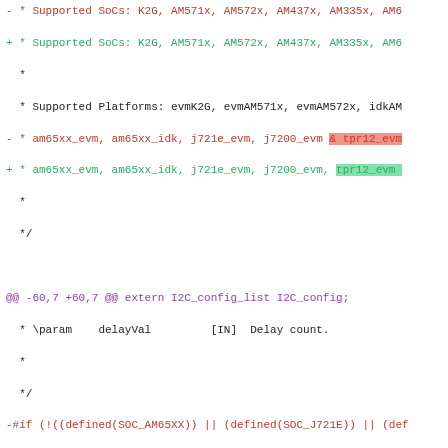Diff code showing changes to supported SoCs, platforms, and conditional compilation directives in an I2C board diagnostics source file.